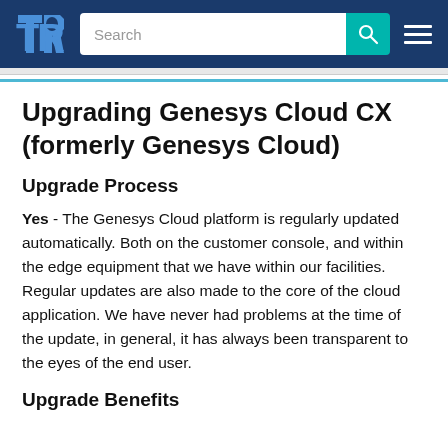TrustRadius | Search | Navigation
Upgrading Genesys Cloud CX (formerly Genesys Cloud)
Upgrade Process
Yes - The Genesys Cloud platform is regularly updated automatically. Both on the customer console, and within the edge equipment that we have within our facilities. Regular updates are also made to the core of the cloud application. We have never had problems at the time of the update, in general, it has always been transparent to the eyes of the end user.
Upgrade Benefits